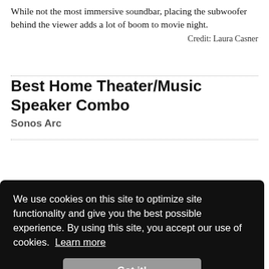While not the most immersive soundbar, placing the subwoofer behind the viewer adds a lot of boom to movie night.
Credit: Laura Casner
Best Home Theater/Music Speaker Combo
Sonos Arc
[Figure (photo): Black soundbar product image with a Top Pick badge on the right]
We use cookies on this site to optimize site functionality and give you the best possible experience. By using this site, you accept our use of cookies. Learn more
Got it!
70
7.4